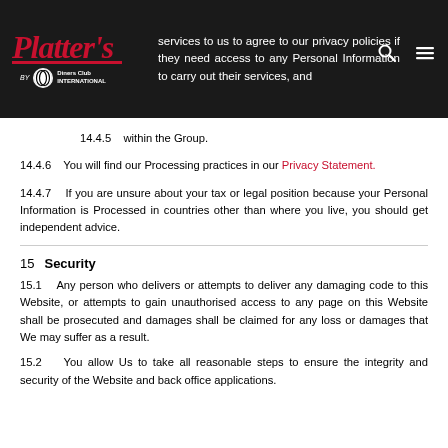services to us to agree to our privacy policies if they need access to any Personal Information to carry out their services, and
14.4.5   within the Group.
14.4.6   You will find our Processing practices in our Privacy Statement.
14.4.7   If you are unsure about your tax or legal position because your Personal Information is Processed in countries other than where you live, you should get independent advice.
15   Security
15.1   Any person who delivers or attempts to deliver any damaging code to this Website, or attempts to gain unauthorised access to any page on this Website shall be prosecuted and damages shall be claimed for any loss or damages that We may suffer as a result.
15.2   You allow Us to take all reasonable steps to ensure the integrity and security of the Website and back office applications.